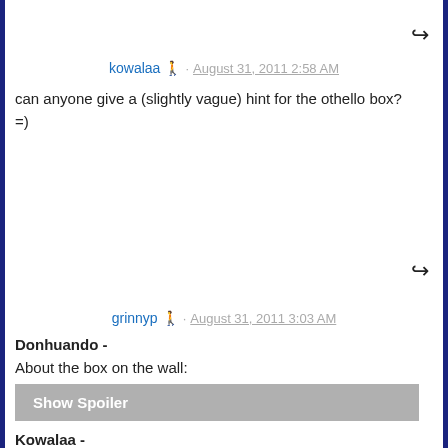↩ (reply icon)
kowalaa 🏃 · August 31, 2011 2:58 AM
can anyone give a (slightly vague) hint for the othello box?
=)
↩ (reply icon)
grinnyp 🏃 · August 31, 2011 3:03 AM
Donhuando -
About the box on the wall:
Show Spoiler
Kowalaa -
Is this vague enough?